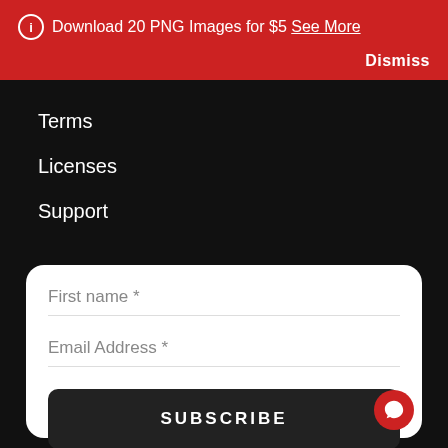Download 20 PNG Images for $5 See More  Dismiss
Terms
Licenses
Support
First name *
Email Address *
SUBSCRIBE